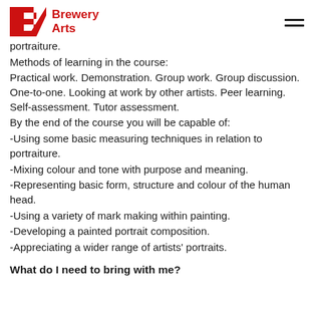Brewery Arts
portraiture.
Methods of learning in the course:
Practical work. Demonstration. Group work. Group discussion. One-to-one. Looking at work by other artists. Peer learning. Self-assessment. Tutor assessment.
By the end of the course you will be capable of:
-Using some basic measuring techniques in relation to portraiture.
-Mixing colour and tone with purpose and meaning.
-Representing basic form, structure and colour of the human head.
-Using a variety of mark making within painting.
-Developing a painted portrait composition.
-Appreciating a wider range of artists' portraits.
What do I need to bring with me?